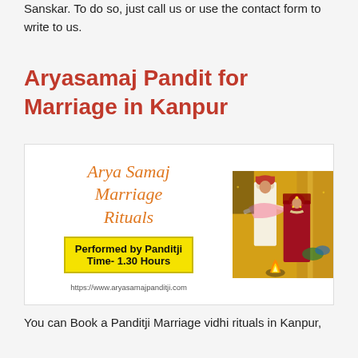Sanskar. To do so, just call us or use the contact form to write to us.
Aryasamaj Pandit for Marriage in Kanpur
[Figure (photo): Composite image: left half shows text 'Arya Samaj Marriage Rituals' in orange italic on white background with a yellow box saying 'Performed by Panditji Time- 1.30 Hours' and website URL 'https://www.aryasamajpanditji.com'; right half is a photo of an Indian wedding ceremony with bride and groom performing rituals around a sacred fire.]
You can Book a Panditji Marriage vidhi rituals in Kanpur,